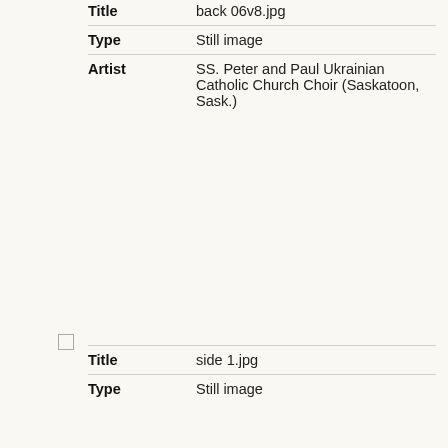| Field | Value |
| --- | --- |
| Title | back 06v8.jpg |
| Type | Still image |
| Artist | SS. Peter and Paul Ukrainian Catholic Church Choir (Saskatoon, Sask.) |
| Field | Value |
| --- | --- |
| Title | side 1.jpg |
| Type | Still image |
| Artist | SS. Peter and Paul Ukrainian Catholic Church Choir (Saskatoon, Sask.) |
| Field | Value |
| --- | --- |
| Title | side 2.jpg |
| Type | Still image |
| Artist | SS. Peter and Paul Ukrainian Catholic Church Choir (Saskatoon, Sask.) |